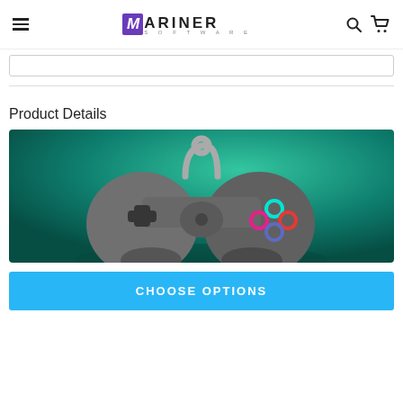Mariner Software
[Figure (screenshot): Search bar input field with border]
[Figure (illustration): Game controller illustration on green gradient background]
Product Details
CHOOSE OPTIONS